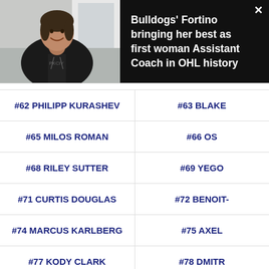[Figure (photo): Video thumbnail showing a woman in a black hoodie smiling, overlaid with a dark banner containing the headline 'Bulldogs' Fortino bringing her best as first woman Assistant Coach in OHL history' and a close button X]
Bulldogs' Fortino bringing her best as first woman Assistant Coach in OHL history
| #62 PHILIPP KURASHEV | #63 BLAKE |
| #65 MILOS ROMAN | #66 OS |
| #68 RILEY SUTTER | #69 YEGO |
| #71 CURTIS DOUGLAS | #72 BENOIT- |
| #74 MARCUS KARLBERG | #75 AXEL |
| #77 KODY CLARK | #78 DMITR |
| #80 LIAM FOUDY | #81 LINU |
| #83... | #84... |